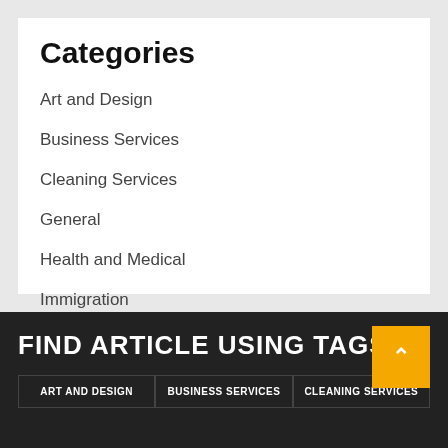Categories
Art and Design
Business Services
Cleaning Services
General
Health and Medical
Immigration
FIND ARTICLE USING TAGS
ART AND DESIGN
BUSINESS SERVICES
CLEANING SERVICES